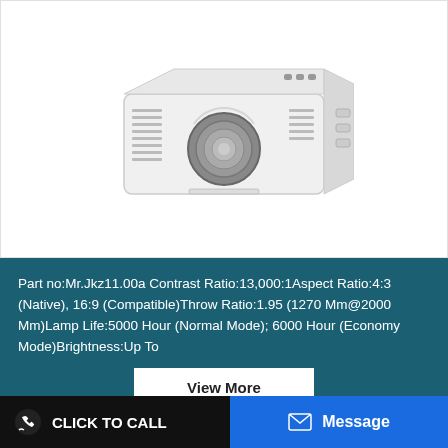[Figure (photo): White projector with silver lens, viewed from front-left angle]
Part no:Mr.Jkz11.00a Contrast Ratio:13,000:1Aspect Ratio:4:3 (Native), 16:9 (Compatible)Throw Ratio:1.95 (1270 Mm@2000 Mm)Lamp Life:5000 Hour (Normal Mode); 6000 Hour (Economy Mode)Brightness:Up To
View More
CLICK TO CALL
Message